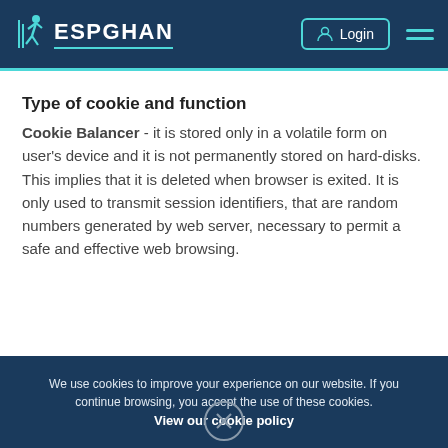ESPGHAN — Login
Type of cookie and function
Cookie Balancer - it is stored only in a volatile form on user's device and it is not permanently stored on hard-disks. This implies that it is deleted when browser is exited. It is only used to transmit session identifiers, that are random numbers generated by web server, necessary to permit a safe and effective web browsing.
We use cookies to improve your experience on our website. If you continue browsing, you accept the use of these cookies. View our cookie policy